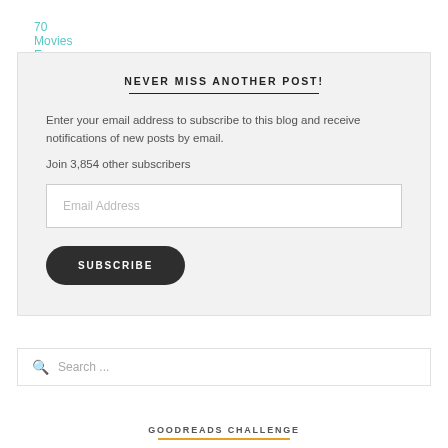70 Movies Everyone Should See
NEVER MISS ANOTHER POST!
Enter your email address to subscribe to this blog and receive notifications of new posts by email.
Join 3,854 other subscribers
Email Address
SUBSCRIBE
Search ...
GOODREADS CHALLENGE